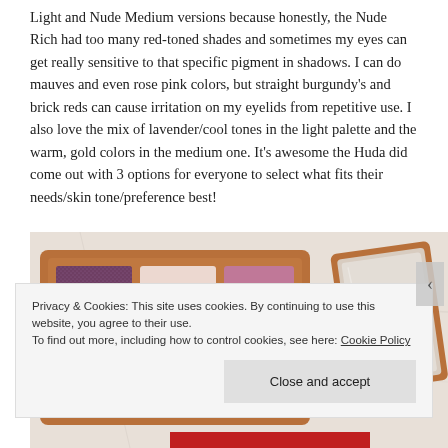Light and Nude Medium versions because honestly, the Nude Rich had too many red-toned shades and sometimes my eyes can get really sensitive to that specific pigment in shadows. I can do mauves and even rose pink colors, but straight burgundy's and brick reds can cause irritation on my eyelids from repetitive use. I also love the mix of lavender/cool tones in the light palette and the warm, gold colors in the medium one. It's awesome the Huda did come out with 3 options for everyone to select what fits their needs/skin tone/preference best!
[Figure (photo): Eyeshadow palette open showing 6 color swatches in pinks, purples, and neutrals in a rose-gold compact, with another closed compact visible on the right on a marble surface]
Privacy & Cookies: This site uses cookies. By continuing to use this website, you agree to their use.
To find out more, including how to control cookies, see here: Cookie Policy